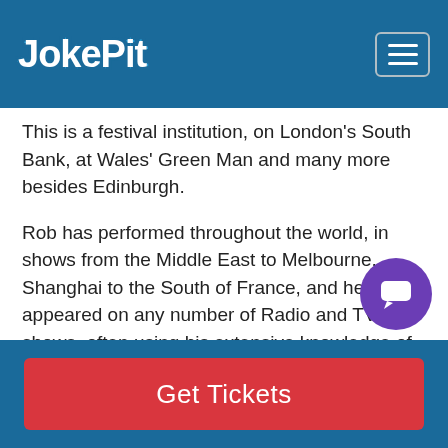JokePit
This is a festival institution, on London's South Bank, at Wales' Green Man and many more besides Edinburgh.
Rob has performed throughout the world, in shows from the Middle East to Melbourne, Shanghai to the South of France, and he has appeared on any number of Radio and TV shows, often using his extensive knowledge of film, popular music and... well, 'general'; he has won Celebrity Mastermind and a comedians' special of the Weakest Link on BBC One, for example.
Get Tickets